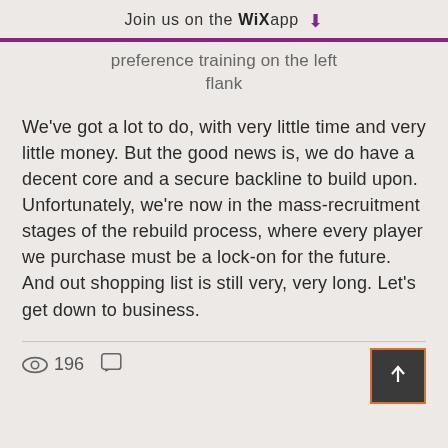Join us on the WiX app ⬇
...preference training on the left flank
We've got a lot to do, with very little time and very little money. But the good news is, we do have a decent core and a secure backline to build upon. Unfortunately, we're now in the mass-recruitment stages of the rebuild process, where every player we purchase must be a lock-on for the future. And out shopping list is still very, very long. Let's get down to business.
196 views, comment button, share button